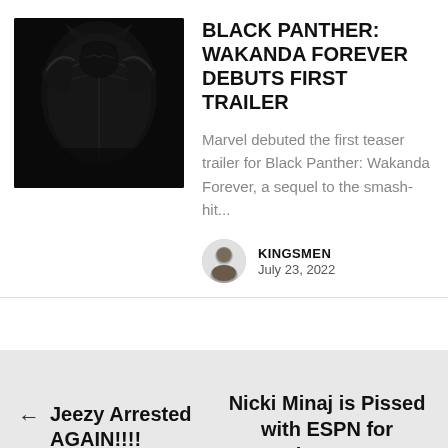[Figure (photo): Black Panther helmet/armor in dark lighting against black background]
BLACK PANTHER: WAKANDA FOREVER DEBUTS FIRST TRAILER
Marvel debuted the first teaser trailer for Black Panther: Wakanda Forever, a sequel to the smash-hit...
[Figure (photo): Small circular author avatar photo of Kingsmen]
KINGSMEN
July 23, 2022
← Jeezy Arrested AGAIN!!!!
Nicki Minaj is Pissed with ESPN for retouches Done On Cover Shoot. Check